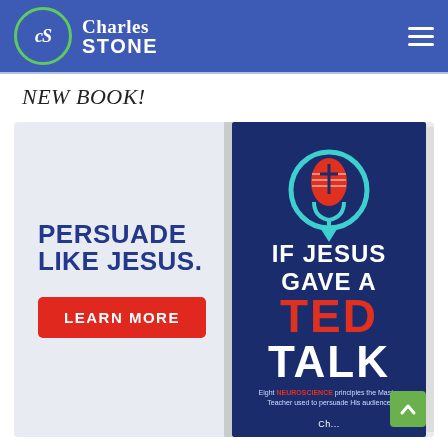Charles STONE
NEW BOOK!
[Figure (illustration): Book promo banner with text 'PERSUADE LIKE JESUS.' and 'LEARN MORE' button on the left, and a 3D book cover for 'If Jesus Gave a TED Talk' on the right showing a microphone with a cross icon and subtitle 'Eight Neuroscience principles the Master Teacher used to persuade His audience']